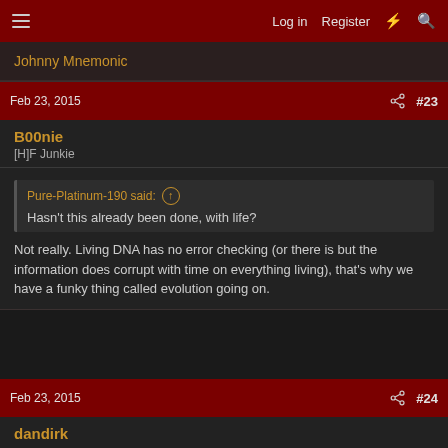Log in  Register  #  Search
Johnny Mnemonic
Feb 23, 2015  #23
B00nie
[H]F Junkie
Pure-Platinum-190 said:
Hasn't this already been done, with life?
Not really. Living DNA has no error checking (or there is but the information does corrupt with time on everything living), that's why we have a funky thing called evolution going on.
Feb 23, 2015  #24
dandirk